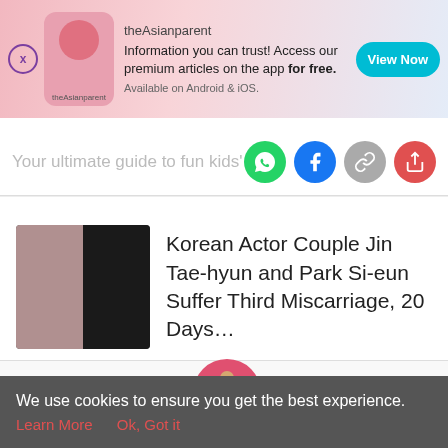[Figure (screenshot): theAsianparent app advertisement banner with pink gradient background, logo, and 'View Now' button]
Your ultimate guide to fun kids' activiti
[Figure (screenshot): Article thumbnail showing Korean actor couple]
Korean Actor Couple Jin Tae-hyun and Park Si-eun Suffer Third Miscarriage, 20 Days…
Tools | Articles | [pregnant woman icon] | Feed | Poll
We use cookies to ensure you get the best experience.
Learn More    Ok, Got it